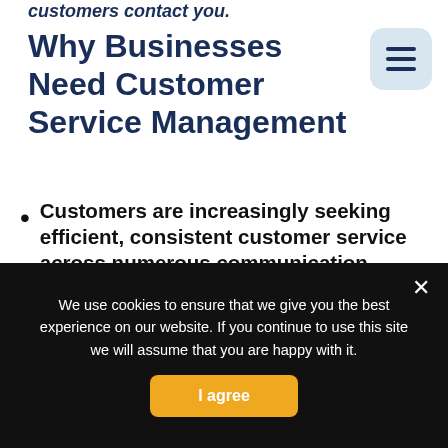customers contact you.
Why Businesses Need Customer Service Management
Customers are increasingly seeking efficient, consistent customer service across numerous communication channels, 24 hours a day, seven days a week. Companies will have to rely on Customer Service Management because they cannot adjust the size of their customer care personnel.
We use cookies to ensure that we give you the best experience on our website. If you continue to use this site we will assume that you are happy with it.